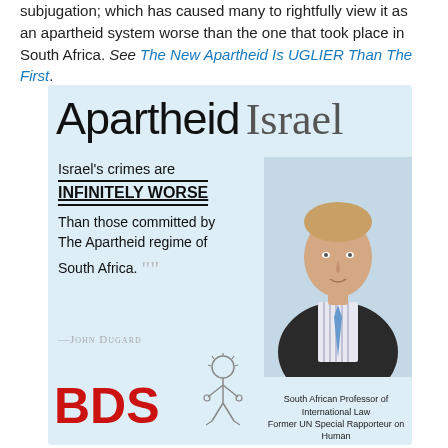subjugation; which has caused many to rightfully view it as an apartheid system worse than the one that took place in South Africa. See The New Apartheid Is UGLIER Than The First.
[Figure (infographic): Apartheid Israel infographic with quote by John Dugard: 'Israel's crimes are INFINITELY WORSE Than those committed by The Apartheid regime of South Africa.' with BDS logo and photo of South African Professor of International Law]